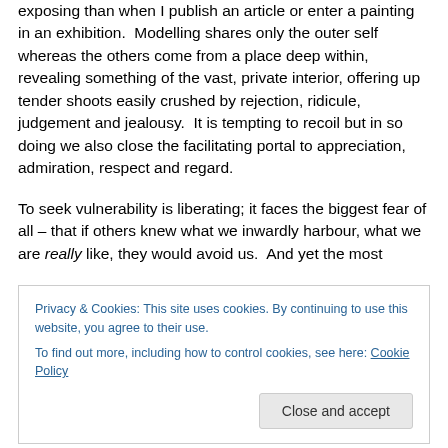exposing than when I publish an article or enter a painting in an exhibition. Modelling shares only the outer self whereas the others come from a place deep within, revealing something of the vast, private interior, offering up tender shoots easily crushed by rejection, ridicule, judgement and jealousy. It is tempting to recoil but in so doing we also close the facilitating portal to appreciation, admiration, respect and regard.
To seek vulnerability is liberating; it faces the biggest fear of all – that if others knew what we inwardly harbour, what we are really like, they would avoid us. And yet the most
Privacy & Cookies: This site uses cookies. By continuing to use this website, you agree to their use.
To find out more, including how to control cookies, see here: Cookie Policy
vulnerability knowing through experience how freeing and